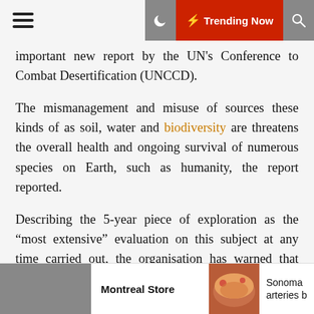Trending Now
important new report by the UN's Conference to Combat Desertification (UNCCD).
The mismanagement and misuse of sources these kinds of as soil, water and biodiversity are threatens the overall health and ongoing survival of numerous species on Earth, such as humanity, the report reported.
Describing the 5-year piece of exploration as the “most extensive” evaluation on this subject at any time carried out, the organisation has warned that “organization as standard is not a practical pathway for our continued survival and prosperity”.
The research – a collaborative hard work involving 21 companion organisations – examines the planetary repercussions of three scenarios which could take place concerning now and 2050.
Montreal Store    Sonoma arteries b